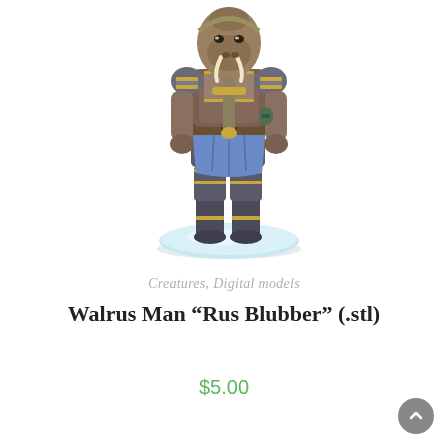[Figure (photo): A painted tabletop miniature figurine of a Walrus Man warrior holding a sword, wearing armor with blue cloth, standing on a light blue ice-like circular base. The figure is photographed against a white background.]
Creatures, Digital models
Walrus Man “Rus Blubber” (.stl)
$5.00